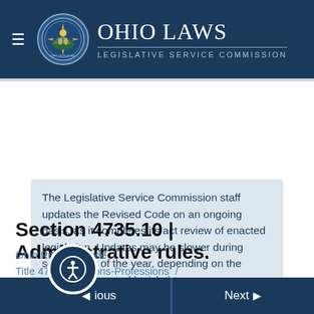Ohio Laws | Legislative Service Commission
The Legislative Service Commission staff updates the Revised Code on an ongoing basis, as it completes its act review of enacted legislation. Updates may be slower during some times of the year, depending on the volume of enacted legislation.
Section 4735.10 | Administrative rules.
Ohio Revised Code / Title 47 Occupations-Professions / Chapter 4735 Real Estate Brokers